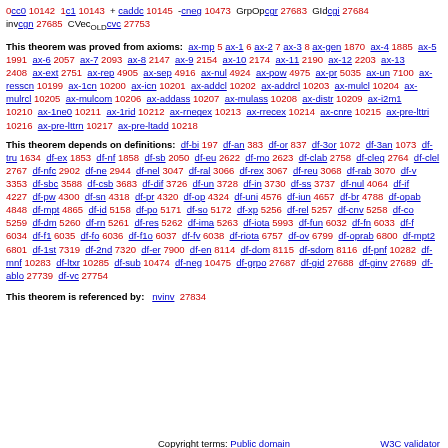0cc0 10142  1c1 10143  + caddc 10145  -cneg 10473  GrpOpcgr 27683  GIdcgi 27684  invcgn 27685  CVecOLDcvc 27753
This theorem was proved from axioms: ax-mp 5 ax-1 6 ax-2 7 ax-3 8 ax-gen 1870 ax-4 1885 ax-5 1991 ax-6 2057 ax-7 2093 ax-8 2147 ax-9 2154 ax-10 2174 ax-11 2190 ax-12 2203 ax-13 2408 ax-ext 2751 ax-rep 4905 ax-sep 4916 ax-nul 4924 ax-pow 4975 ax-pr 5035 ax-un 7100 ax-resscn 10199 ax-1cn 10200 ax-icn 10201 ax-addcl 10202 ax-addrcl 10203 ax-mulcl 10204 ax-mulrcl 10205 ax-mulcom 10206 ax-addass 10207 ax-mulass 10208 ax-distr 10209 ax-i2m1 10210 ax-1ne0 10211 ax-1rid 10212 ax-rnegex 10213 ax-rrecex 10214 ax-cnre 10215 ax-pre-lttri 10216 ax-pre-lttrn 10217 ax-pre-ltadd 10218
This theorem depends on definitions: df-bi 197 df-an 383 df-or 837 df-3or 1072 df-3an 1073 df-tru 1634 df-ex 1853 df-nf 1858 df-sb 2050 df-eu 2622 df-mo 2623 df-clab 2758 df-cleq 2764 df-clel 2767 df-nfc 2902 df-ne 2944 df-nel 3047 df-ral 3066 df-rex 3067 df-reu 3068 df-rab 3070 df-v 3353 df-sbc 3588 df-csb 3683 df-dif 3726 df-un 3728 df-in 3730 df-ss 3737 df-nul 4064 df-if 4227 df-pw 4300 df-sn 4318 df-pr 4320 df-op 4324 df-uni 4576 df-iun 4657 df-br 4788 df-opab 4848 df-mpt 4865 df-id 5158 df-po 5171 df-so 5172 df-xp 5256 df-rel 5257 df-cnv 5258 df-co 5259 df-dm 5260 df-rn 5261 df-res 5262 df-ima 5263 df-iota 5993 df-fun 6032 df-fn 6033 df-f 6034 df-f1 6035 df-fo 6036 df-f1o 6037 df-fv 6038 df-riota 6757 df-ov 6799 df-oprab 6800 df-mpt2 6801 df-1st 7319 df-2nd 7320 df-er 7900 df-en 8114 df-dom 8115 df-sdom 8116 df-pnf 10282 df-mnf 10283 df-ltxr 10285 df-sub 10474 df-neg 10475 df-grpo 27687 df-gid 27688 df-ginv 27689 df-ablo 27739 df-vc 27754
This theorem is referenced by: nvinv 27834
Copyright terms: Public domain    W3C validator